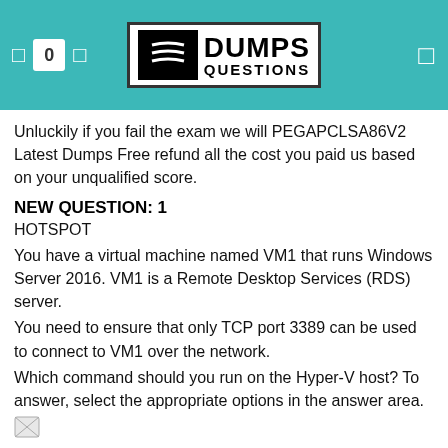DumpsQuestions logo header
Unluckily if you fail the exam we will PEGAPCLSA86V2 Latest Dumps Free refund all the cost you paid us based on your unqualified score.
NEW QUESTION: 1
HOTSPOT
You have a virtual machine named VM1 that runs Windows Server 2016. VM1 is a Remote Desktop Services (RDS) server.
You need to ensure that only TCP port 3389 can be used to connect to VM1 over the network.
Which command should you run on the Hyper-V host? To answer, select the appropriate options in the answer area.
[Figure (illustration): Small broken image placeholder icon]
Answer:
Explanation: